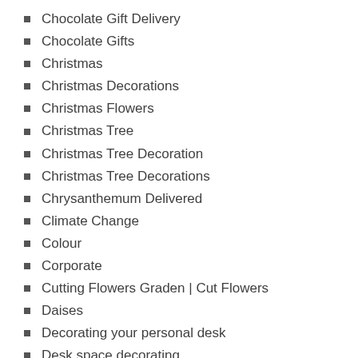Chocolate Gift Delivery
Chocolate Gifts
Christmas
Christmas Decorations
Christmas Flowers
Christmas Tree
Christmas Tree Decoration
Christmas Tree Decorations
Chrysanthemum Delivered
Climate Change
Colour
Corporate
Cutting Flowers Graden | Cut Flowers
Daises
Decorating your personal desk
Desk space decorating
Desk Space Flower Decorating Tips